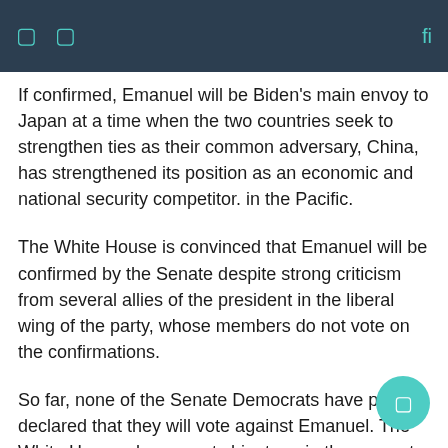navigation header with icons
If confirmed, Emanuel will be Biden's main envoy to Japan at a time when the two countries seek to strengthen ties as their common adversary, China, has strengthened its position as an economic and national security competitor. in the Pacific.
The White House is convinced that Emanuel will be confirmed by the Senate despite strong criticism from several allies of the president in the liberal wing of the party, whose members do not vote on the confirmations.
So far, none of the Senate Democrats have publicly declared that they will vote against Emanuel. The White House also expects him to gain the support of several Senate Republicans, including some who served with him during his tenure in the House from 2003 to 2009.